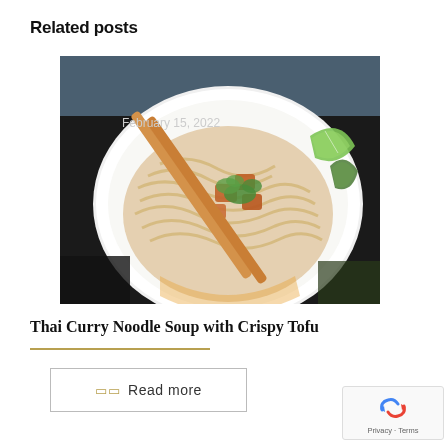Related posts
[Figure (photo): A white bowl of Thai curry noodle soup with wide rice noodles, crispy tofu pieces, bok choy, a lime wedge, fresh cilantro, and chopsticks resting on the rim. The bowl is on a dark surface.]
February 15, 2022
Thai Curry Noodle Soup with Crispy Tofu
Read more